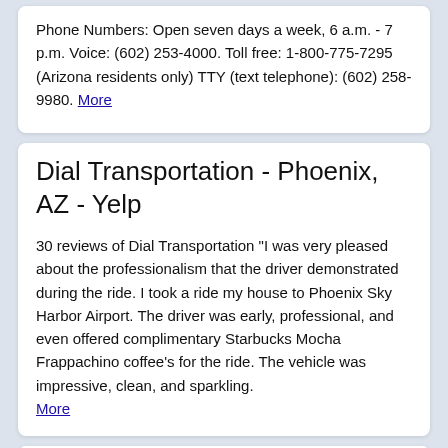Phone Numbers: Open seven days a week, 6 a.m. - 7 p.m. Voice: (602) 253-4000. Toll free: 1-800-775-7295 (Arizona residents only) TTY (text telephone): (602) 258-9980. More
Dial Transportation - Phoenix, AZ - Yelp
30 reviews of Dial Transportation "I was very pleased about the professionalism that the driver demonstrated during the ride. I took a ride my house to Phoenix Sky Harbor Airport. The driver was early, professional, and even offered complimentary Starbucks Mocha Frappachino coffee's for the ride. The vehicle was impressive, clean, and sparkling. More